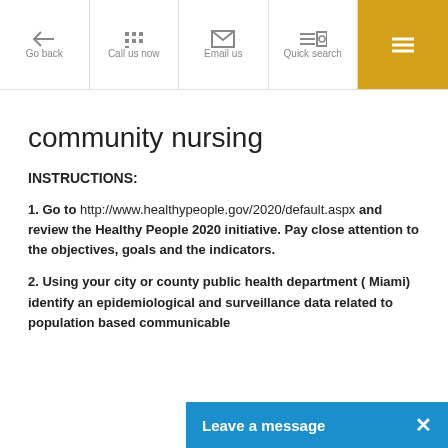Go back | Call us now | Email us | Quick search | [menu]
community nursing
INSTRUCTIONS:
1. Go to http://www.healthypeople.gov/2020/default.aspx and review the Healthy People 2020 initiative. Pay close attention to the objectives, goals and the indicators.
2. Using your city or county public health department ( Miami) identify an epidemiological and surveillance data related to population based communicable...